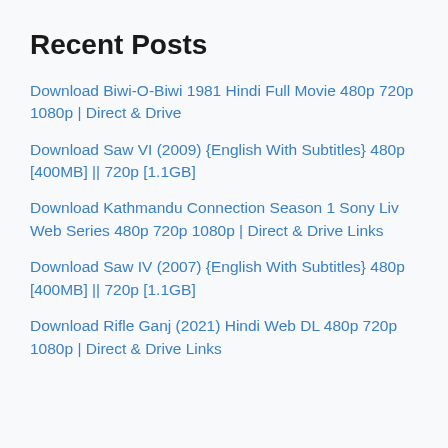Recent Posts
Download Biwi-O-Biwi 1981 Hindi Full Movie 480p 720p 1080p | Direct & Drive
Download Saw VI (2009) {English With Subtitles} 480p [400MB] || 720p [1.1GB]
Download Kathmandu Connection Season 1 Sony Liv Web Series 480p 720p 1080p | Direct & Drive Links
Download Saw IV (2007) {English With Subtitles} 480p [400MB] || 720p [1.1GB]
Download Rifle Ganj (2021) Hindi Web DL 480p 720p 1080p | Direct & Drive Links